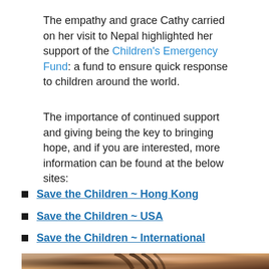The empathy and grace Cathy carried on her visit to Nepal highlighted her support of the Children's Emergency Fund: a fund to ensure quick response to children around the world.
The importance of continued support and giving being the key to bringing hope, and if you are interested, more information can be found at the below sites:
Save the Children ~ Hong Kong
Save the Children ~ USA
Save the Children ~ International
[Figure (photo): Close-up photo of a dark-haired child or young person lying down, with warm brown and beige tones, appearing to receive care or being held.]